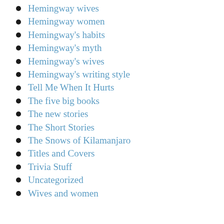Hemingway wives
Hemingway women
Hemingway's habits
Hemingway's myth
Hemingway's wives
Hemingway's writing style
Tell Me When It Hurts
The five big books
The new stories
The Short Stories
The Snows of Kilamanjaro
Titles and Covers
Trivia Stuff
Uncategorized
Wives and women